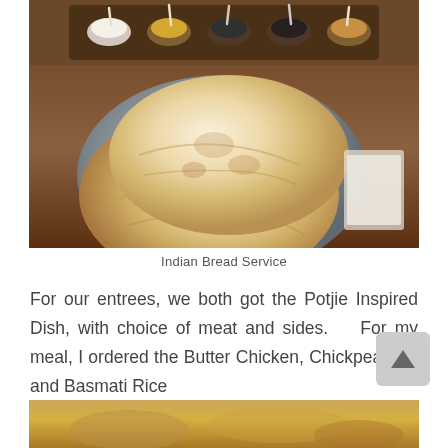[Figure (photo): A plate of Indian naan bread (flatbreads) on a grey ceramic plate, with small bowls of condiments/chutneys on a wooden board in the background, set on a wooden table.]
Indian Bread Service
For our entrees, we both got the Potjie Inspired Dish, with choice of meat and sides.  For my meal, I ordered the Butter Chicken, Chickpea Wat and Basmati Rice
[Figure (photo): Partial view of another food dish at the bottom of the page.]